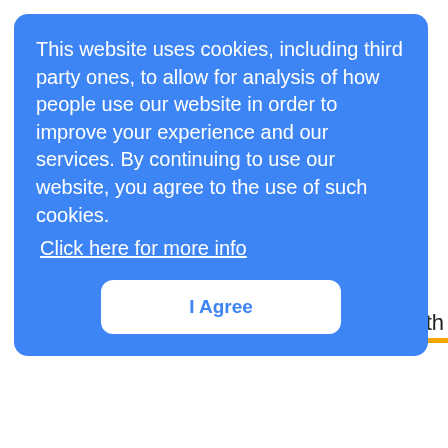This website uses cookies, including third party ones, to allow for analysis of how people use our website in order to improve your experience and our services. By continuing to use our website, you agree to the use of such cookies. Click here for more info
I Agree
y with
career
and what needs to be done to make the tech industry internationally inclusive.
[Figure (photo): Portrait photo of a woman with dark hair and glasses]
Story ✏
Women in Tech: Spotlight on legal tech with Life.file's Sinal Govender
Life.file co-founder, Sinal Govender, talks to Connecting Africa as part of our Women's Month series about her career and how we can encourage more young girls to enter the legal tech field.
[Figure (photo): Partial view of another story thumbnail at bottom of page]
Story ✏